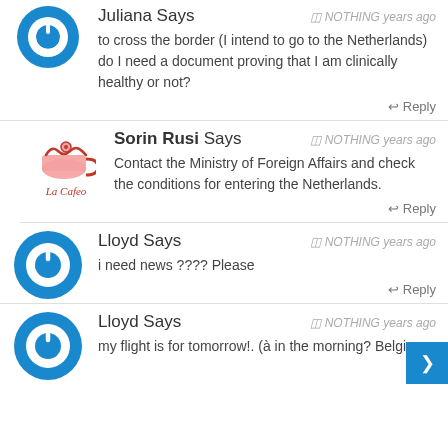Juliana Says — NOTHING years ago — to cross the border (I intend to go to the Netherlands) do I need a document proving that I am clinically healthy or not? — Reply
Sorin Rusi Says — NOTHING years ago — Contact the Ministry of Foreign Affairs and check the conditions for entering the Netherlands. — Reply
Lloyd Says — NOTHING years ago — i need news ???? Please — Reply
Lloyd Says — NOTHING years ago — my flight is for tomorrow!. (à in the morning? Belgium